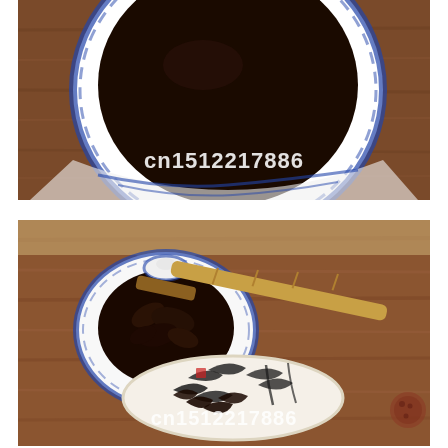[Figure (photo): Top-down view of a blue and white porcelain tea cup filled with dark brewed tea, placed on a wooden surface. White watermark text 'cn1512217886' overlays the image.]
[Figure (photo): A blue and white porcelain gaiwan (tea brewing bowl with lid off) filled with dark loose leaf tea, with a bamboo tea tong resting across it, and the lid placed below showing an ink painting of bamboo. The scene is on a wooden table. White watermark text 'cn1512217886' overlays the image.]